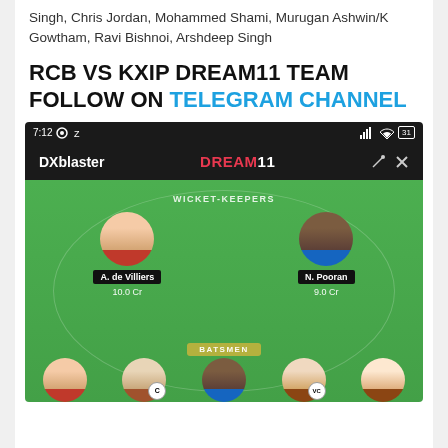Singh, Chris Jordan, Mohammed Shami, Murugan Ashwin/K Gowtham, Ravi Bishnoi, Arshdeep Singh
RCB VS KXIP DREAM11 TEAM FOLLOW ON TELEGRAM CHANNEL
[Figure (screenshot): Dream11 app screenshot showing a fantasy cricket team with DXblaster team name. Status bar shows 7:12. Green cricket field layout shows WICKET-KEEPERS section with A. de Villiers (10.0 Cr) and N. Pooran (9.0 Cr). Bottom shows BATSMEN section with player avatars including C (Captain) and VC (Vice Captain) badges.]